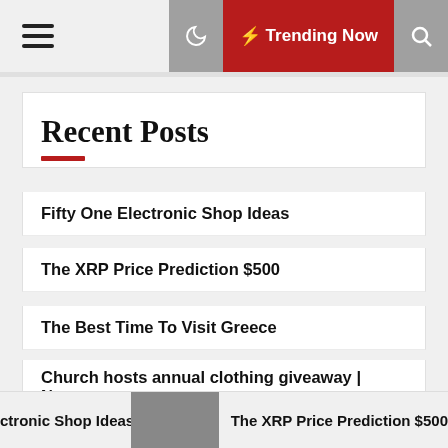≡  Trending Now  🔍
Recent Posts
Fifty One Electronic Shop Ideas
The XRP Price Prediction $500
The Best Time To Visit Greece
Church hosts annual clothing giveaway | News
38 Best Things To Do In Colorado
ctronic Shop Ideas   The XRP Price Prediction $500